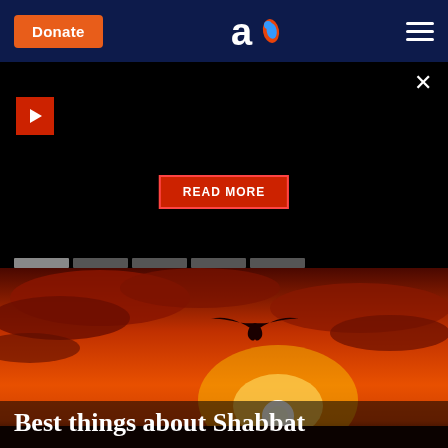Donate | Aish.com logo | Menu
[Figure (screenshot): Dark overlay panel with a play button (red square with white triangle) on the left, a close X button on the top right, and a red READ MORE button centered below]
[Figure (photo): Dramatic orange-red sunset sky with silhouette of a bird in flight, bright sun near horizon, with text overlay reading 'Best things about Shabbat']